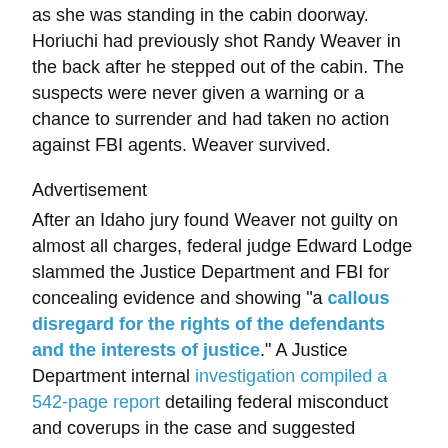as she was standing in the cabin doorway. Horiuchi had previously shot Randy Weaver in the back after he stepped out of the cabin. The suspects were never given a warning or a chance to surrender and had taken no action against FBI agents. Weaver survived.
Advertisement
After an Idaho jury found Weaver not guilty on almost all charges, federal judge Edward Lodge slammed the Justice Department and FBI for concealing evidence and showing "a callous disregard for the rights of the defendants and the interests of justice." A Justice Department internal investigation compiled a 542-page report detailing federal misconduct and coverups in the case and suggested criminal charges against FBI officials involved in Ruby Ridge.
Barr told the New York Times in 1993 that he was not directly involved in the Ruby Ridge operation. Two years later, the Washington Post revealed that "top officials of